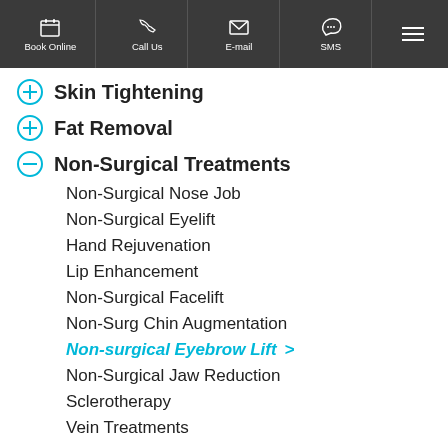Book Online | Call Us | E-mail | SMS | Menu
Skin Tightening
Fat Removal
Non-Surgical Treatments
Non-Surgical Nose Job
Non-Surgical Eyelift
Hand Rejuvenation
Lip Enhancement
Non-Surgical Facelift
Non-Surg Chin Augmentation
Non-surgical Eyebrow Lift >
Non-Surgical Jaw Reduction
Sclerotherapy
Vein Treatments